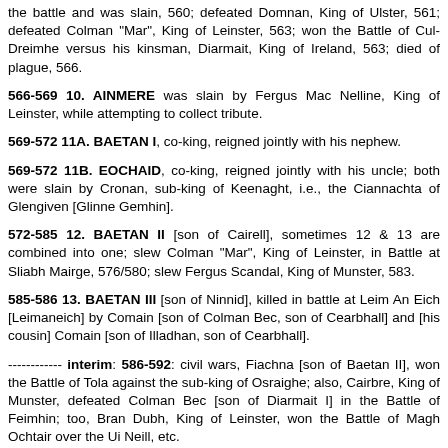the battle and was slain, 560; defeated Domnan, King of Ulster, 561; defeated Colman "Mar", King of Leinster, 563; won the Battle of Cul-Dreimhe versus his kinsman, Diarmait, King of Ireland, 563; died of plague, 566.
566-569 10. AINMERE was slain by Fergus Mac Nelline, King of Leinster, while attempting to collect tribute.
569-572 11A. BAETAN I, co-king, reigned jointly with his nephew.
569-572 11B. EOCHAID, co-king, reigned jointly with his uncle; both were slain by Cronan, sub-king of Keenaght, i.e., the Ciannachta of Glengiven [Glinne Gemhin].
572-585 12. BAETAN II [son of Cairell], sometimes 12 & 13 are combined into one; slew Colman "Mar", King of Leinster, in Battle at Sliabh Mairge, 576/580; slew Fergus Scandal, King of Munster, 583.
585-586 13. BAETAN III [son of Ninnid], killed in battle at Leim An Eich [Leimaneich] by Comain [son of Colman Bec, son of Cearbhall] and [his cousin] Comain [son of Illadhan, son of Cearbhall].
------------ interim: 586-592: civil wars, Fiachna [son of Baetan II], won the Battle of Tola against the sub-king of Osraighe; also, Cairbre, King of Munster, defeated Colman Bec [son of Diarmait I] in the Battle of Feimhin; too, Bran Dubh, King of Leinster, won the Battle of Magh Ochtair over the Ui Neill, etc.
592-598 14. AEDH I [son of Ainmuire] subdued Meath by the Battle of Doete [Bealach Feadha], 592; invaded Leinster to avenge the death of his amorous son, Comusgach, but was surprised by night in camp at Dunbolg by Bran "Dubh", King of Leinster, and though surrounded by his